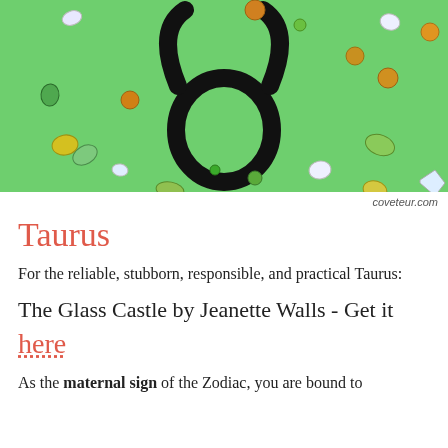[Figure (photo): Green background with Taurus zodiac symbol in black and scattered gemstones/crystals in various colors including white, green, yellow, and orange]
coveteur.com
Taurus
For the reliable, stubborn, responsible, and practical Taurus:
The Glass Castle by Jeanette Walls - Get it here
As the maternal sign of the Zodiac, you are bound to